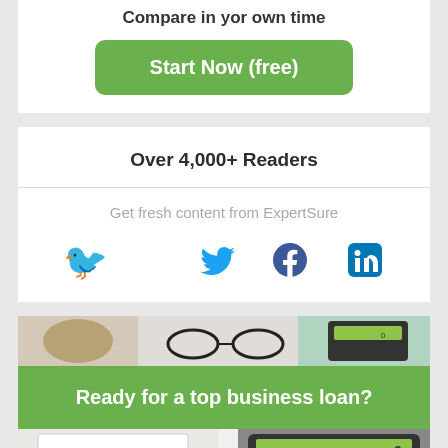Compare in yor own time
Start Now (free)
Over 4,000+ Readers
Get fresh content from ExpertSure
[Figure (infographic): Social media icons: Twitter bird, Facebook f, LinkedIn in]
[Figure (photo): Background image of business items: glasses, calculator, coffee cup]
Ready for a top business loan?
[Figure (photo): Bottom partial image showing Summary Report document and calculator with keys 7, 8, 9, 0]